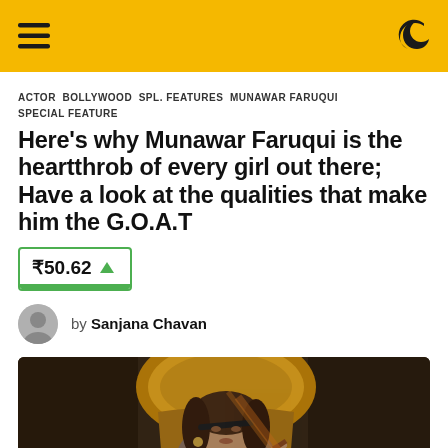≡ [hamburger menu] [moon icon]
ACTOR  BOLLYWOOD  SPL. FEATURES  MUNAWAR FARUQUI  SPECIAL FEATURE
Here's why Munawar Faruqui is the heartthrob of every girl out there; Have a look at the qualities that make him the G.O.A.T
₹50.62 ▲
by Sanjana Chavan
[Figure (photo): A woman with brown wavy hair sitting on an ornate golden chair, wearing a grey outfit, looking intensely at the camera in a dramatic artistic scene.]